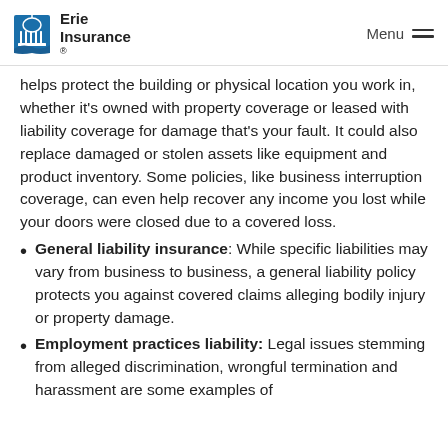Erie Insurance | Menu
helps protect the building or physical location you work in, whether it's owned with property coverage or leased with liability coverage for damage that's your fault. It could also replace damaged or stolen assets like equipment and product inventory. Some policies, like business interruption coverage, can even help recover any income you lost while your doors were closed due to a covered loss.
General liability insurance: While specific liabilities may vary from business to business, a general liability policy protects you against covered claims alleging bodily injury or property damage.
Employment practices liability: Legal issues stemming from alleged discrimination, wrongful termination and harassment are some examples of